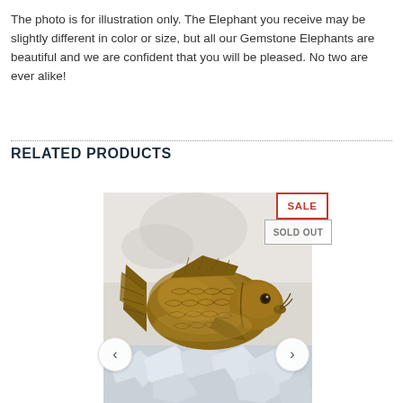The photo is for illustration only. The Elephant you receive may be slightly different in color or size, but all our Gemstone Elephants are beautiful and we are confident that you will be pleased. No two are ever alike!
RELATED PRODUCTS
[Figure (photo): A carved gemstone fish figurine (koi/carp) placed on crushed ice. The fish is brownish-gold agate stone with detailed scale etchings. There are navigation arrows on left and right sides, a red SALE badge in top-right corner, and a grey SOLD OUT badge below it.]